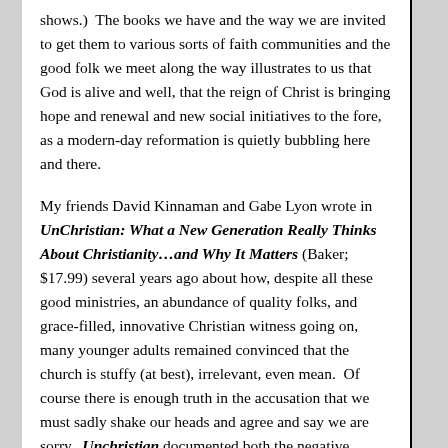shows.)  The books we have and the way we are invited to get them to various sorts of faith communities and the good folk we meet along the way illustrates to us that God is alive and well, that the reign of Christ is bringing hope and renewal and new social initiatives to the fore, as a modern-day reformation is quietly bubbling here and there.
My friends David Kinnaman and Gabe Lyon wrote in UnChristian: What a New Generation Really Thinks About Christianity…and Why It Matters (Baker; $17.99) several years ago about how, despite all these good ministries, an abundance of quality folks, and grace-filled, innovative Christian witness going on, many younger adults remained convinced that the church is stuffy (at best), irrelevant, even mean.  Of course there is enough truth in the accusation that we must sadly shake our heads and agree and say we are sorry.  Unchristian documented both the negative stereotypes and reputations which Christians and churches have these days and also offered stories and examples of folks who